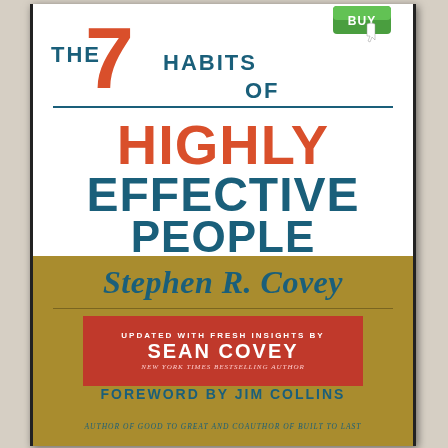[Figure (illustration): Book cover of 'The 7 Habits of Highly Effective People' by Stephen R. Covey, updated with fresh insights by Sean Covey, foreword by Jim Collins. White upper section with title text in red and teal, gold lower section with author name and contributor details. A 'Buy' button with cursor icon appears in top right corner.]